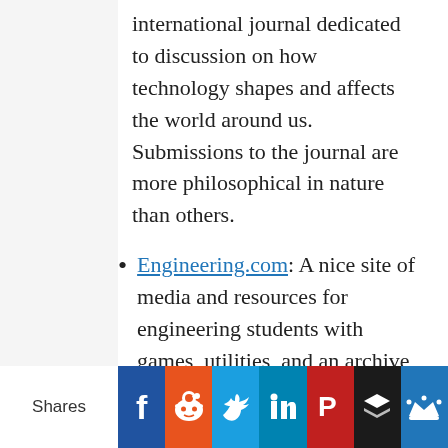international journal dedicated to discussion on how technology shapes and affects the world around us. Submissions to the journal are more philosophical in nature than others.
Engineering.com: A nice site of media and resources for engineering students with games, utilities, and an archive of journals.
Shares [Facebook] [Reddit] [Twitter] [LinkedIn] [Pinterest] [Buffer] [Crown]